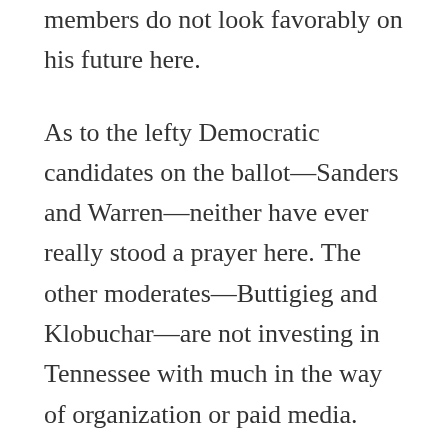members do not look favorably on his future here.
As to the lefty Democratic candidates on the ballot—Sanders and Warren—neither have ever really stood a prayer here. The other moderates—Buttigieg and Klobuchar—are not investing in Tennessee with much in the way of organization or paid media.
That leaves Bloomberg, the billionaire gorilla, who has hired a significant on-the-ground presence in Tennessee, managed by the very capable Courtney Wheeler (former Karl Dean for governor honcho). He has hired a veteran communications director, field organizers,